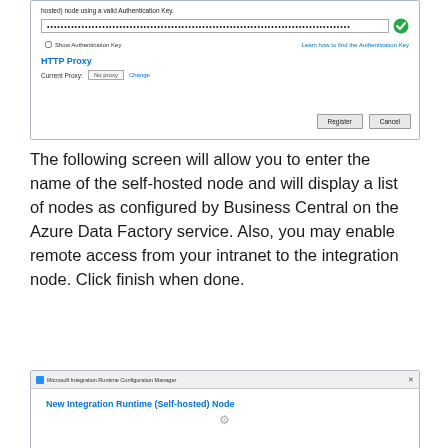[Figure (screenshot): Microsoft Integration Runtime Configuration Manager dialog showing authentication key input field (filled with dots) with green checkmark, Show Authentication Key checkbox, Learn how to find the Authentication Key link, HTTP Proxy section with Current Proxy: No proxy and Change link, and Register/Cancel buttons at bottom.]
The following screen will allow you to enter the name of the self-hosted node and will display a list of nodes as configured by Business Central on the Azure Data Factory service. Also, you may enable remote access from your intranet to the integration node. Click finish when done.
[Figure (screenshot): Microsoft Integration Runtime Configuration Manager dialog showing New Integration Runtime (Self-hosted) Node section.]